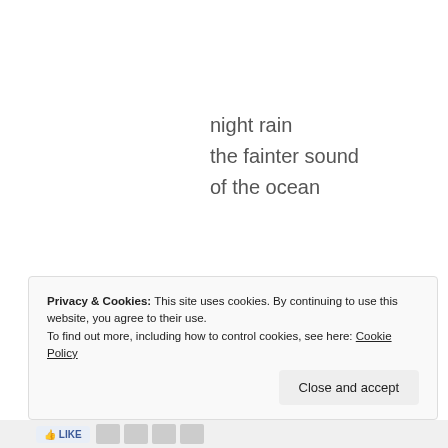night rain
the fainter sound
of the ocean
DailyHaiku, 7/12/11
Privacy & Cookies: This site uses cookies. By continuing to use this website, you agree to their use.
To find out more, including how to control cookies, see here: Cookie Policy
Close and accept